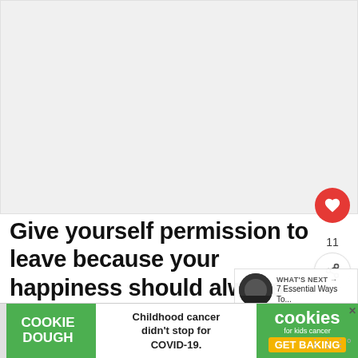[Figure (photo): Large image area at top of page, mostly white/light gray (image content not visible)]
Give yourself permission to leave because your happiness should always be your own biggest p
It's not selfish. It's not bad. It's necessary
[Figure (infographic): WHAT'S NEXT arrow label with thumbnail image and text '7 Essential Ways To...']
[Figure (infographic): Advertisement banner: COOKIE DOUGH - Childhood cancer didn't stop for COVID-19. cookies for kids cancer GET BAKING]